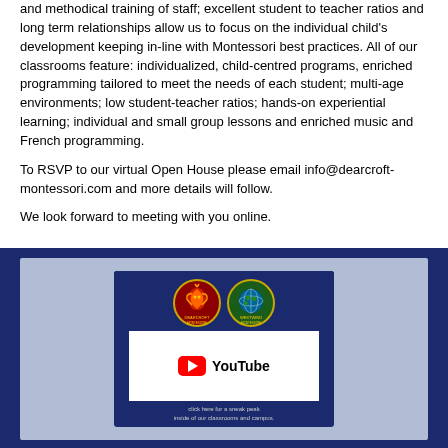and methodical training of staff; excellent student to teacher ratios and long term relationships allow us to focus on the individual child's development keeping in-line with Montessori best practices. All of our classrooms feature: individualized, child-centred programs, enriched programming tailored to meet the needs of each student; multi-age environments; low student-teacher ratios; hands-on experiential learning; individual and small group lessons and enriched music and French programming.
To RSVP to our virtual Open House please email info@dearcroft-montessori.com and more details will follow.
We look forward to meeting with you online.
[Figure (screenshot): A YouTube video thumbnail showing two school logos (Dearcroft Montessori and Westwind Montessori) on a dark navy background above a white YouTube player area, with caption text 'click here for a sneak peak inside of our classrooms and campus.']